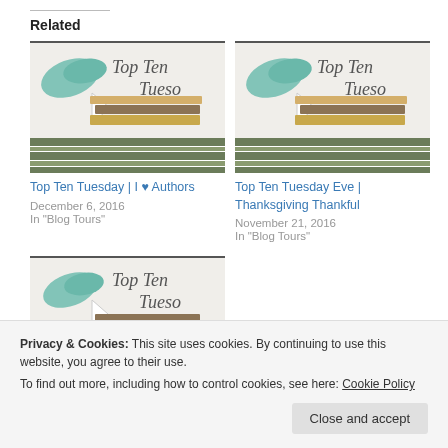Related
[Figure (illustration): Top Ten Tuesday blog thumbnail image with illustrated bird and books]
Top Ten Tuesday | I ♥ Authors
December 6, 2016
In "Blog Tours"
[Figure (illustration): Top Ten Tuesday Eve | Thanksgiving Thankful blog thumbnail]
Top Ten Tuesday Eve | Thanksgiving Thankful
November 21, 2016
In "Blog Tours"
[Figure (illustration): Top Ten Tuesday blog thumbnail image (third, partially visible)]
In "Blog Tours"
Privacy & Cookies: This site uses cookies. By continuing to use this website, you agree to their use.
To find out more, including how to control cookies, see here: Cookie Policy
Close and accept